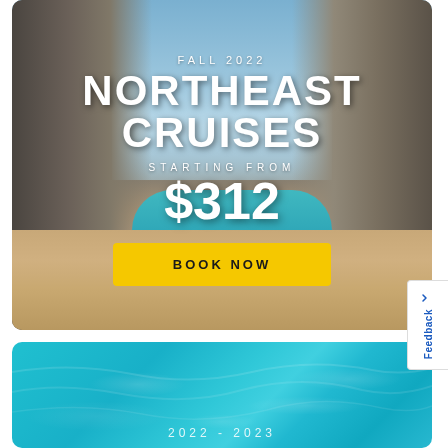[Figure (photo): Tropical beach cove with turquoise water, sandy shore, and rocky cliffs on either side under a partly cloudy blue sky. Text overlay reads FALL 2022, NORTHEAST CRUISES, STARTING FROM $312, with a BOOK NOW button.]
FALL 2022
NORTHEAST CRUISES
STARTING FROM
$312
BOOK NOW
[Figure (photo): Turquoise ocean water with ripples and highlights, partial view. Text at bottom reads 2022 - 2023.]
2022 - 2023